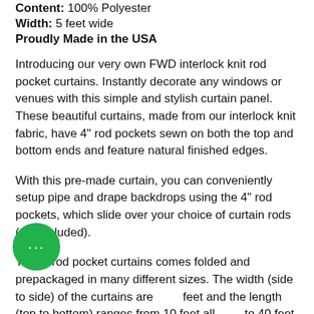Content: 100% Polyester
Width: 5 feet wide
Proudly Made in the USA
Introducing our very own FWD interlock knit rod pocket curtains. Instantly decorate any windows or venues with this simple and stylish curtain panel. These beautiful curtains, made from our interlock knit fabric, have 4" rod pockets sewn on both the top and bottom ends and feature natural finished edges.
With this pre-made curtain, you can conveniently setup pipe and drape backdrops using the 4" rod pockets, which slide over your choice of curtain rods (not included).
These rod pocket curtains comes folded and prepackaged in many different sizes. The width (side to side) of the curtains are 5 feet and the length (top to bottom) ranges from 10 feet all the way to 40 feet tall - this helps accommodate venue heights of all sizes. For best appearance when using as drapes, we recommend using 2 or more pieces of 5ft wide panels for